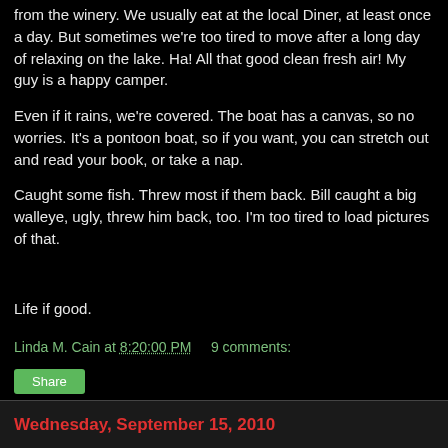from the winery. We usually eat at the local Diner, at least once a day. But sometimes we're too tired to move after a long day of relaxing on the lake. Ha! All that good clean fresh air! My guy is a happy camper.
Even if it rains, we're covered. The boat has a canvas, so no worries. It's a pontoon boat, so if you want, you can stretch out and read your book, or take a nap.
Caught some fish. Threw most if them back. Bill caught a big walleye, ugly, threw him back, too. I'm too tired to load pictures of that.
Life if good.
Linda M. Cain at 8:20:00 PM    9 comments:
Share
Wednesday, September 15, 2010